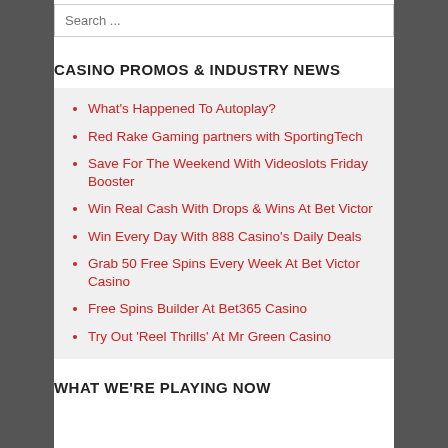Search ...
CASINO PROMOS & INDUSTRY NEWS
What's Happened To Autoplay?
Red Rake Gaming partners with SportingTech
Save For The Weekend With Videoslots Friday Booster
Win Real Cash With Drops & Wins At Bet Victor
Win Every Day With 888 Casino's Daily Deals
Grab 50 Free Spins Every Week At Bet Victor Casino
Free Spins Builder At Bet365 Casino
Try Out 'Reel Thrills' At Mr Green Casino
WHAT WE'RE PLAYING NOW